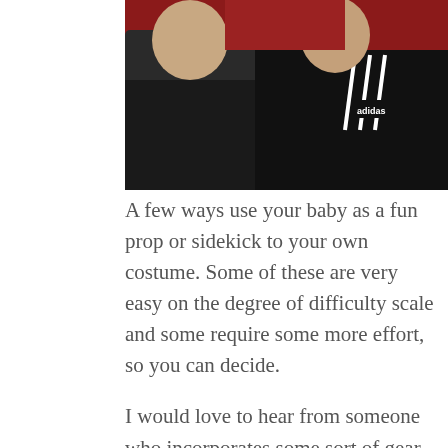[Figure (photo): Photo of two people, one wearing an Adidas black jacket, against a red background]
A few ways use your baby as a fun prop or sidekick to your own costume. Some of these are very easy on the degree of difficulty scale and some require some more effort, so you can decide.
I would love to hear from someone who incorporates some sort of gear – a backpack or stroller – into their costume.
Long ago, I thought Mom could be the princess and baby would be the frog